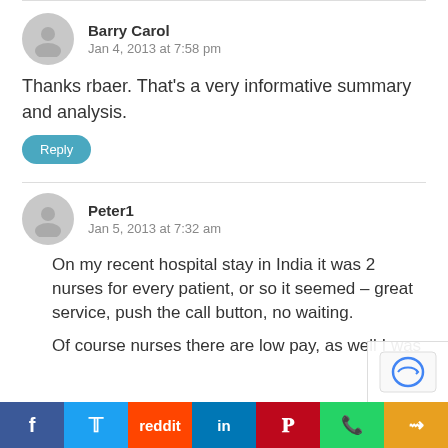Barry Carol
Jan 4, 2013 at 7:58 pm
Thanks rbaer. That’s a very informative summary and analysis.
Reply
Peter1
Jan 5, 2013 at 7:32 am
On my recent hospital stay in India it was 2 nurses for every patient, or so it seemed – great service, push the call button, no waiting.
Of course nurses there are low pay, as well I was